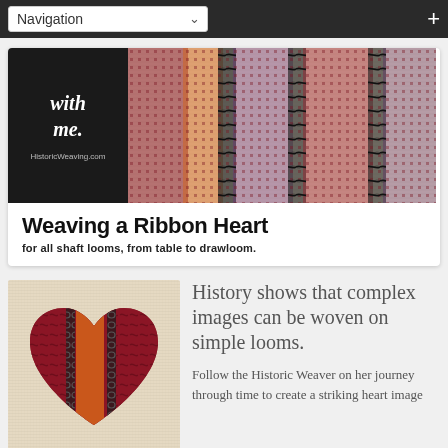Navigation
[Figure (photo): Website banner for HistoricWeaving.com showing woven textile with ribbon heart design. Left side black panel with cursive 'with me.' text and HistoricWeaving.com URL. Right side shows close-up of colorful woven fabric with red, orange, purple, dark geometric patterns.]
Weaving a Ribbon Heart
for all shaft looms, from table to drawloom.
[Figure (photo): Close-up photo of a woven ribbon heart textile showing red floral/ornamental patterns, orange diagonal stripes, dark chain-link patterns on a beige/cream linen background.]
History shows that complex images can be woven on simple looms.
Follow the Historic Weaver on her journey through time to create a striking heart image